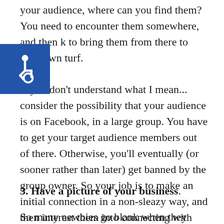your audience, where can you find them? You need to encounter them somewhere, and then k to bring them from there to your own turf. If you don't understand what I mean... consider the possibility that your audience is on Facebook, in a large group. You have to get your target audience members out of there. Otherwise, you'll eventually (or sooner rather than later) get banned by the group owner. So your job is to make an initial connection in a non-sleazy way, and then interest them into connecting with you personally... and from there, get onto your email list so you can continue to market to them.
[Figure (illustration): Blue accessibility icon (wheelchair symbol) overlaid on the text]
3. Have a picture of your business.
So many newbies go blank when they think about